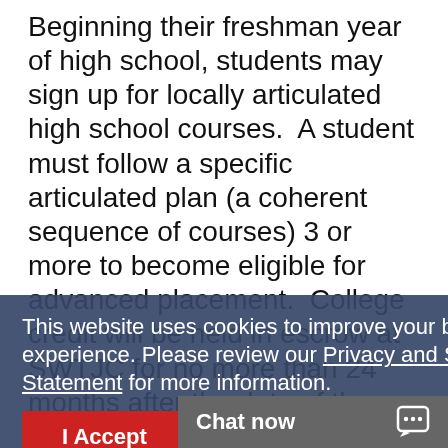Beginning their freshman year of high school, students may sign up for locally articulated high school courses. A student must follow a specific articulated plan (a coherent sequence of courses) 3 or more to become eligible for advanced placement. College credit will be held in escrow at SWTJC for no more than 24 months after the date of the student's high school graduation. This credit will be posted once the student has completed 6 semester hours at SWTJC, taken the TSI test, and provided the Outreach Department with an official high school transcript. Local articulated courses listed on the high school transcript with grades of 80 or above will be eligible for college credit. No college course credits are guaranteed at SWTJC or other community c...
This website uses cookies to improve your browsing experience. Please review our Privacy and Security Statement for more information.
I Accept
Chat now